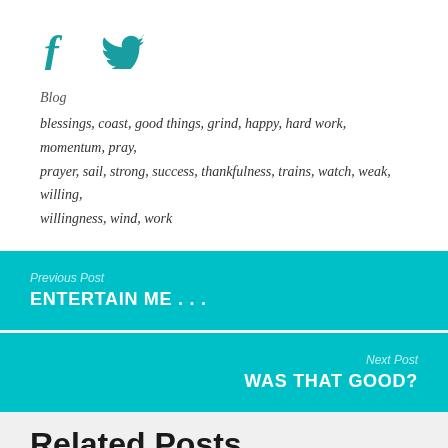[Figure (illustration): Social media share icons: Facebook (f) and Twitter (bird) in teal color]
Blog
blessings, coast, good things, grind, happy, hard work, momentum, pray, prayer, sail, strong, success, thankfulness, trains, watch, weak, willing, willingness, wind, work
Previous Post
ENTERTAIN ME . . .
Next Post
WAS THAT GOOD?
Related Posts